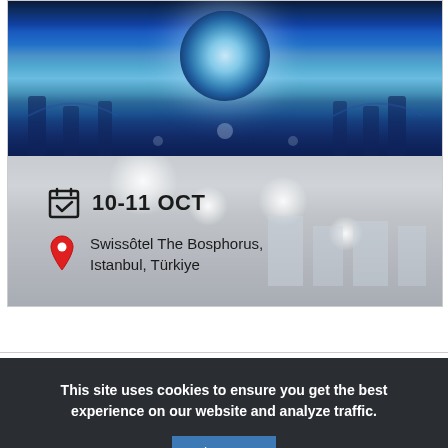[Figure (photo): Interior of Blue Mosque (Sultan Ahmed Mosque) in Istanbul showing ornate blue-tiled domed ceiling and chandelier-lit interior. Bottom half shows a lighter grey interior view with overlaid event information: date '10-11 OCT' with calendar icon, and location 'Swissôtel The Bosphorus, Istanbul, Türkiye' with red pin icon.]
This site uses cookies to ensure you get the best experience on our website and analyze traffic.
I agree